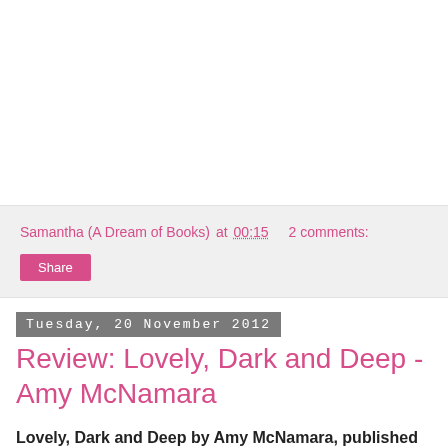Samantha (A Dream of Books) at 00:15    2 comments:
Share
Tuesday, 20 November 2012
Review: Lovely, Dark and Deep - Amy McNamara
Lovely, Dark and Deep by Amy McNamara, published by Simon and Schuster on 8th November 2012
Goodreads synopsis:
Since the night of the crash, Wren Wells has been running away. Though she lived through the accident that killed her